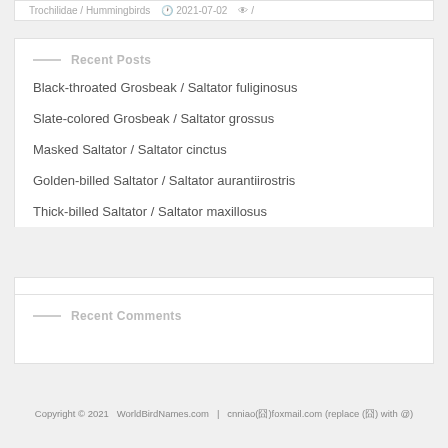Trochilidae / Hummingbirds  2021-07-02  /
Recent Posts
Black-throated Grosbeak / Saltator fuliginosus
Slate-colored Grosbeak / Saltator grossus
Masked Saltator / Saltator cinctus
Golden-billed Saltator / Saltator aurantiirostris
Thick-billed Saltator / Saltator maxillosus
Recent Comments
Copyright © 2021   WorldBirdNames.com  |  cnniao(囧)foxmail.com (replace (囧) with @)